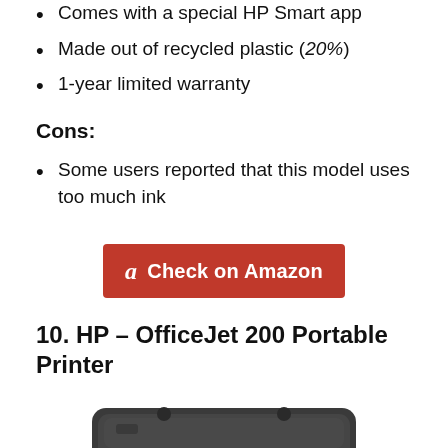Comes with a special HP Smart app
Made out of recycled plastic (20%)
1-year limited warranty
Cons:
Some users reported that this model uses too much ink
[Figure (other): Red Amazon button with 'a' logo and text 'Check on Amazon']
10. HP – OfficeJet 200 Portable Printer
[Figure (photo): Top-down view of dark grey HP OfficeJet 200 portable printer]